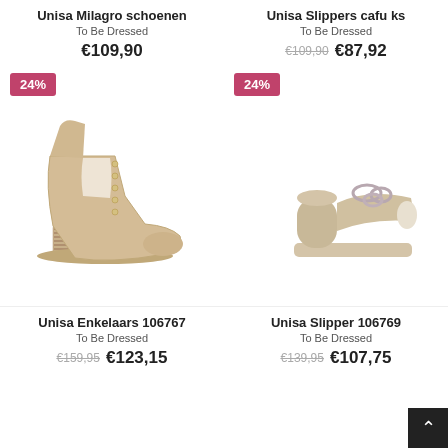Unisa Milagro schoenen
To Be Dressed
€109,90
[Figure (photo): Beige suede ankle boot with studded cutout detail and stacked block heel, 24% discount badge]
Unisa Enkelaars 106767
To Be Dressed
€159,95  €123,15
Unisa Slippers cafu ks
To Be Dressed
€109,90  €87,92
[Figure (photo): Beige suede platform mule slipper with chain detail and chunky block heel, 24% discount badge]
Unisa Slipper 106769
To Be Dressed
€139,95  €107,75